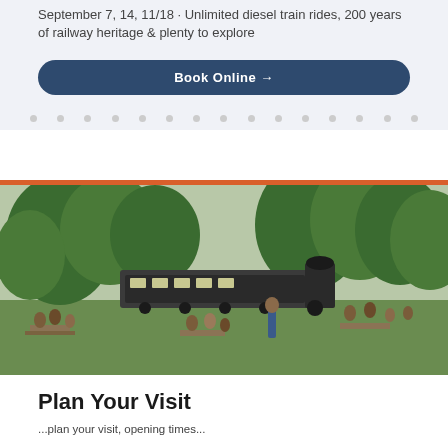September 7, 14, 11/18 · Unlimited diesel train rides, 200 years of railway heritage & plenty to explore
Book Online →
[Figure (photo): Outdoor scene at a heritage railway with families sitting at picnic tables on green grass. A vintage steam locomotive with passenger coaches is visible in the background, surrounded by tall trees.]
Plan Your Visit
...plan your visit, opening times...